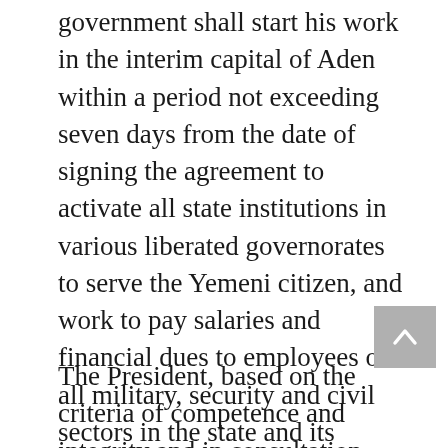government shall start his work in the interim capital of Aden within a period not exceeding seven days from the date of signing the agreement to activate all state institutions in various liberated governorates to serve the Yemeni citizen, and work to pay salaries and financial dues to employees of all military, security and civil sectors in the state and its institutions in the interim capital. Aden and all the liberated provinces.
The President, based on the criteria of competence and integrity and in consultation, shall appoint governors and security